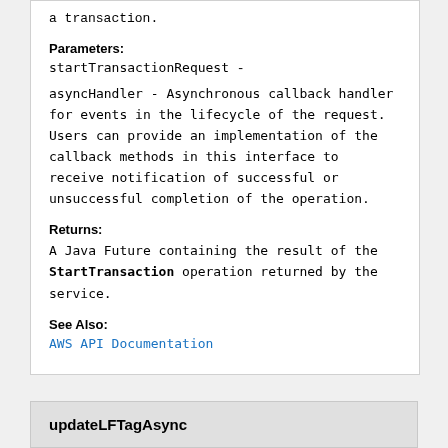a transaction.
Parameters:
startTransactionRequest -
asyncHandler - Asynchronous callback handler for events in the lifecycle of the request. Users can provide an implementation of the callback methods in this interface to receive notification of successful or unsuccessful completion of the operation.
Returns:
A Java Future containing the result of the StartTransaction operation returned by the service.
See Also:
AWS API Documentation
updateLFTagAsync